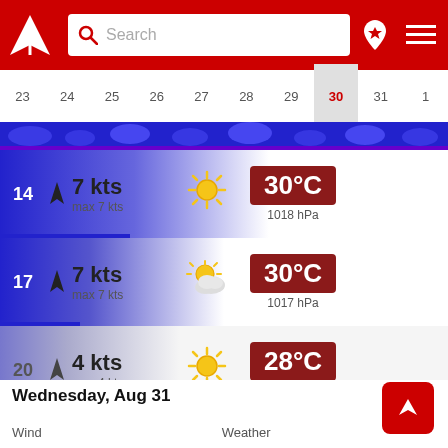[Figure (screenshot): App header bar with red background, logo (white triangle/arrow), search box, location pin icon, and hamburger menu]
[Figure (infographic): Horizontal calendar date strip showing dates 23-1, with 30 highlighted in red on gray background. Wave/tide chart below dates.]
14  7 kts  max 7 kts  [sunny icon]  30°C  1018 hPa
17  7 kts  max 7 kts  [partly cloudy icon]  30°C  1017 hPa
20  4 kts  max 4 kts  [sunny icon]  28°C  1017 hPa
23  3 kts  max 4 kts  [moon icon]  28°C  1018 hPa
Wednesday, Aug 31
Wind  Weather